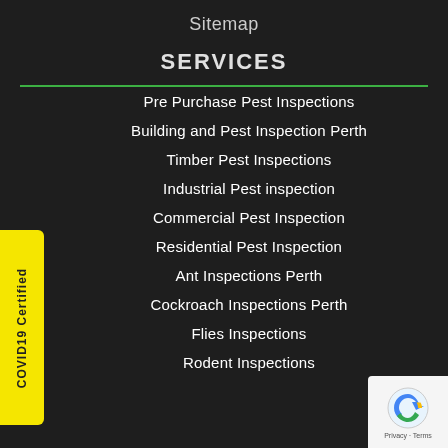Sitemap
SERVICES
Pre Purchase Pest Inspections
Building and Pest Inspection Perth
Timber Pest Inspections
Industrial Pest inspection
Commercial Pest Inspection
Residential Pest Inspection
Ant Inspections Perth
Cockroach Inspections Perth
Flies Inspections
Rodent Inspections
[Figure (logo): COVID19 Certified badge on yellow vertical banner on left side]
[Figure (logo): reCAPTCHA badge in bottom right corner]